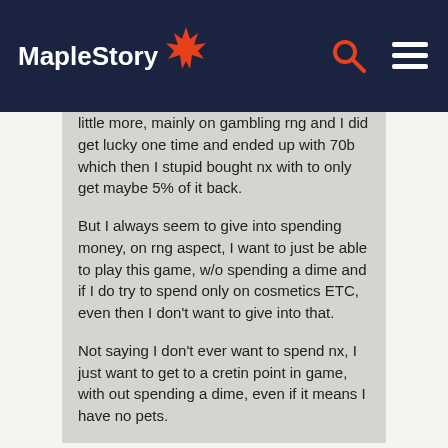MapleStory
little more, mainly on gambling rng and I did get lucky one time and ended up with 70b which then I stupid bought nx with to only get maybe 5% of it back.

But I always seem to give into spending money, on rng aspect, I want to just be able to play this game, w/o spending a dime and if I do try to spend only on cosmetics ETC, even then I don't want to give into that.

Not saying I don't ever want to spend nx, I just want to get to a cretin point in game, with out spending a dime, even if it means I have no pets.
Yes, it is possible to make mesos in the game without having to spend real $.
You should really stick to one account and just delete characters when you don't want to play them anymore (just don't forget to move your tradeable stuff and mesos over before you do).
It is very crucial that you restrain yourself from spending too much money on this game (plus, the more you gamble on RNG,